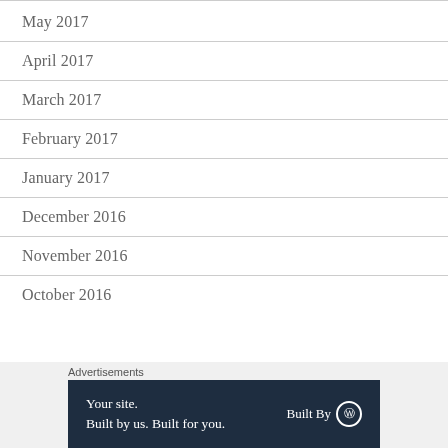May 2017
April 2017
March 2017
February 2017
January 2017
December 2016
November 2016
October 2016
Advertisements
[Figure (infographic): Advertisement banner: 'Your site. Built by us. Built for you.' with 'Built By WordPress' logo on dark navy background]